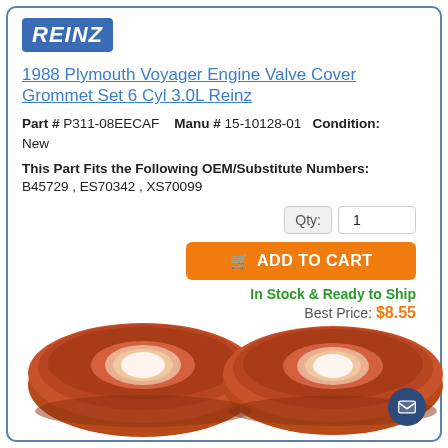[Figure (logo): REINZ brand logo in white italic bold text on blue background]
1988 Plymouth Voyager Engine Valve Cover Grommet Set 6 Cyl 3.0L Reinz
Part # P311-08EECAF   Manu # 15-10128-01  Condition: New
This Part Fits the Following OEM/Substitute Numbers: B45729 , ES70342 , XS70099
Qty: 1
ADD TO CART
In Stock & Ready to Ship
Best Price: $8.55
[Figure (photo): Two red rubber valve cover grommets (donut-shaped), viewed from above at slight angle]